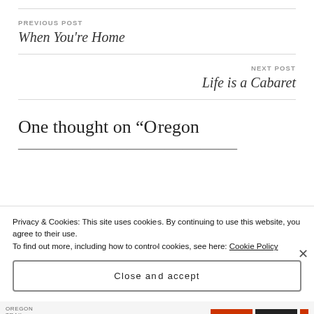PREVIOUS POST
When You're Home
NEXT POST
Life is a Cabaret
One thought on “Oregon
Privacy & Cookies: This site uses cookies. By continuing to use this website, you agree to their use.
To find out more, including how to control cookies, see here: Cookie Policy
Close and accept